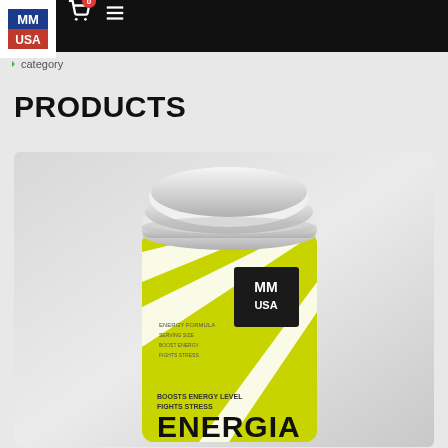MM USA navigation bar with logo, search, account, cart (0), and menu icons
category
PRODUCTS
[Figure (photo): MM USA ENERGIA supplement container with bright yellow-green and white diagonal stripe label showing 'BOOSTS ENERGY LEVEL FIGHTS STRESS' and 'ENERGIA' branding, white cap on top, on a light gray background]